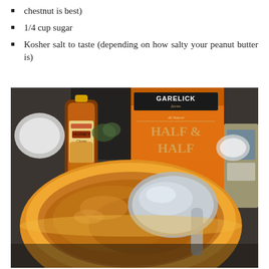chestnut is best)
1/4 cup sugar
Kosher salt to taste (depending on how salty your peanut butter is)
[Figure (photo): Photo of cooking ingredients on a dark countertop: a bottle of Clover Honey, a Garelick Farms Half & Half carton, a yellow bowl with peanut butter being stirred with a spoon, and a white cup in the background.]